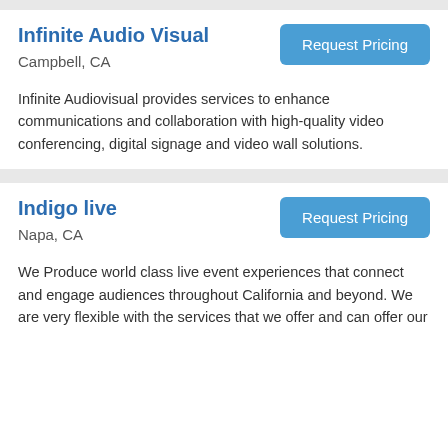Infinite Audio Visual
Campbell, CA
Infinite Audiovisual provides services to enhance communications and collaboration with high-quality video conferencing, digital signage and video wall solutions.
Indigo live
Napa, CA
We Produce world class live event experiences that connect and engage audiences throughout California and beyond. We are very flexible with the services that we offer and can offer our